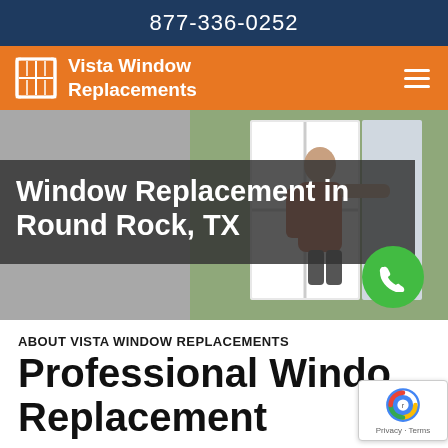877-336-0252
Vista Window Replacements
[Figure (screenshot): Hero image showing a person installing or adjusting a window, with trees visible outside. Overlay text reads 'Window Replacement in Round Rock, TX' on a semi-transparent dark background. A green phone/call button (FAB) is visible on the right side of the overlay.]
ABOUT VISTA WINDOW REPLACEMENTS
Professional Window Replacement S…